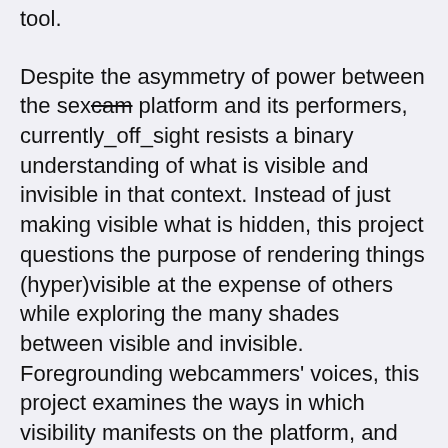tool.
Despite the asymmetry of power between the sexcam platform and its performers, currently_off_sight resists a binary understanding of what is visible and invisible in that context. Instead of just making visible what is hidden, this project questions the purpose of rendering things (hyper)visible at the expense of others while exploring the many shades between visible and invisible. Foregrounding webcammers' voices, this project examines the ways in which visibility manifests on the platform, and the various degrees of agency the different actors have there.
currently_off_sight interrogates the poetics of visibility on the platform by engaging with the forms that this visibility acquires. The project is divided into chapters, concerning the topics addressed by the webcammers' testimonies. Citing the aesthetics used by the sexcam platform and webcammers' profiles, these elements are